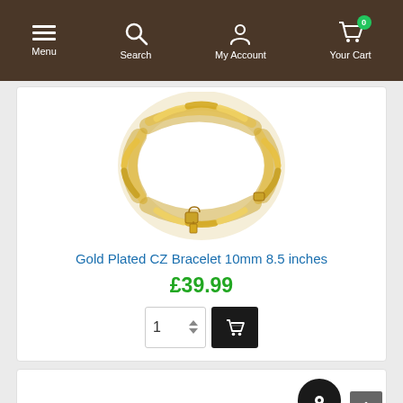Menu | Search | My Account | Your Cart (0)
[Figure (photo): Gold plated CZ Cuban link bracelet shown as a circular chain against white background]
Gold Plated CZ Bracelet 10mm 8.5 inches
£39.99
[Figure (screenshot): Add to cart controls: quantity spinner showing 1, and black add-to-cart button with shopping bag icon]